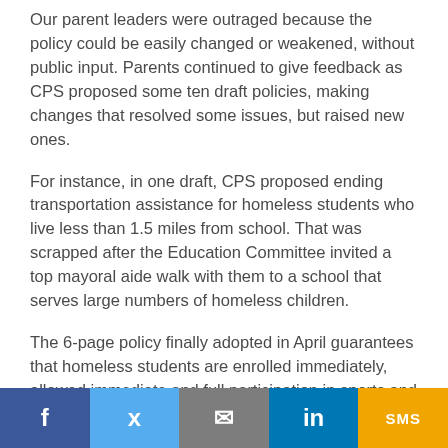Our parent leaders were outraged because the policy could be easily changed or weakened, without public input. Parents continued to give feedback as CPS proposed some ten draft policies, making changes that resolved some issues, but raised new ones.
For instance, in one draft, CPS proposed ending transportation assistance for homeless students who live less than 1.5 miles from school. That was scrapped after the Education Committee invited a top mayoral aide walk with them to a school that serves large numbers of homeless children.
The 6-page policy finally adopted in April guarantees that homeless students are enrolled immediately, allowed immediate and full participation in sports and school...